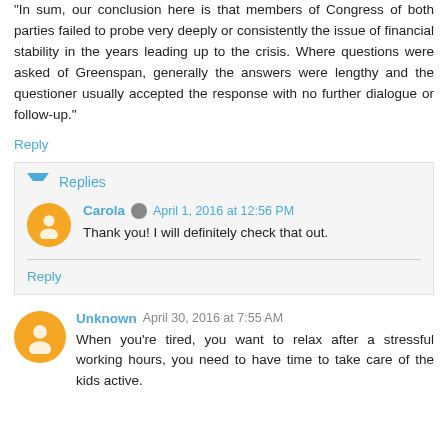“In sum, our conclusion here is that members of Congress of both parties failed to probe very deeply or consistently the issue of financial stability in the years leading up to the crisis. Where questions were asked of Greenspan, generally the answers were lengthy and the questioner usually accepted the response with no further dialogue or follow-up.”
Reply
Replies
Carola  April 1, 2016 at 12:56 PM
Thank you! I will definitely check that out.
Reply
Unknown  April 30, 2016 at 7:55 AM
When you're tired, you want to relax after a stressful working hours, you need to have time to take care of the kids active.